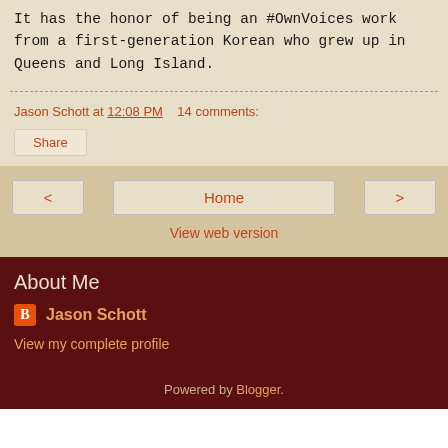It has the honor of being an #OwnVoices work from a first-generation Korean who grew up in Queens and Long Island.
Jason Schott at 12:08 PM   14 comments:
Share
< Home >
View web version
About Me
Jason Schott
View my complete profile
Powered by Blogger.